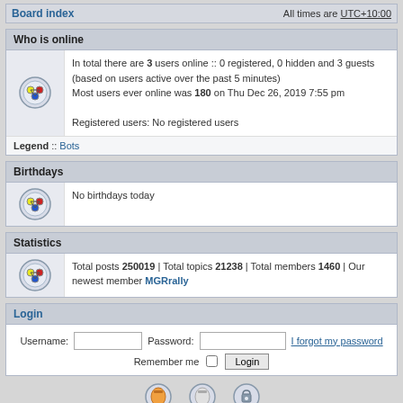Board index | All times are UTC+10:00
Who is online
In total there are 3 users online :: 0 registered, 0 hidden and 3 guests (based on users active over the past 5 minutes)
Most users ever online was 180 on Thu Dec 26, 2019 7:55 pm

Registered users: No registered users
Legend :: Bots
Birthdays
No birthdays today
Statistics
Total posts 250019 | Total topics 21238 | Total members 1460 | Our newest member MGRrally
Login
Username: [input] Password: [input] I forgot my password
Remember me [checkbox] Login
Unread posts | No unread posts | Forum locked
Powered by phpBB® Forum Software © phpBB Limited